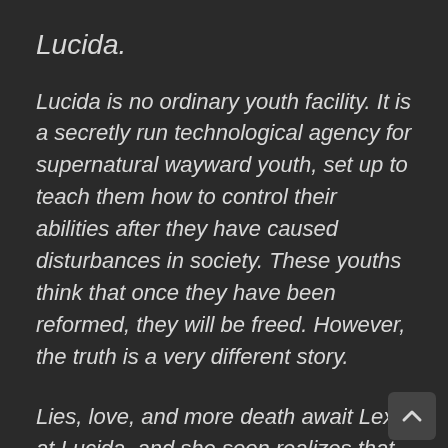Lucida.
Lucida is no ordinary youth facility. It is a secretly run technological agency for supernatural wayward youth, set up to teach them how to control their abilities after they have caused disturbances in society. These youths think that once they have been reformed, they will be freed. However, the truth is a very different story.
Lies, love, and more death await Lexia at Lucida, and she soon realizes that this facility is not quite what it seems. Now she knows she must make a choice: does she finally give up to